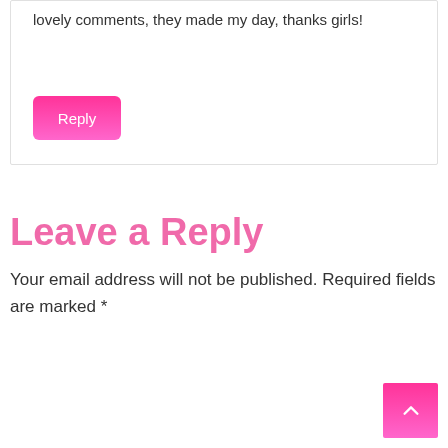lovely comments, they made my day, thanks girls!
Reply
Leave a Reply
Your email address will not be published. Required fields are marked *